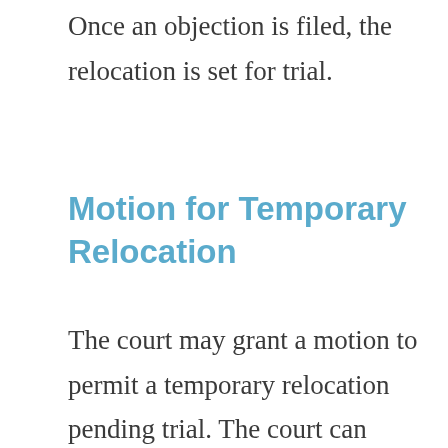Once an objection is filed, the relocation is set for trial.
Motion for Temporary Relocation
The court may grant a motion to permit a temporary relocation pending trial. The court can temporarily allow the move if, after reviewing the facts of the case, it determines the relocation is likely to be approved after trial.